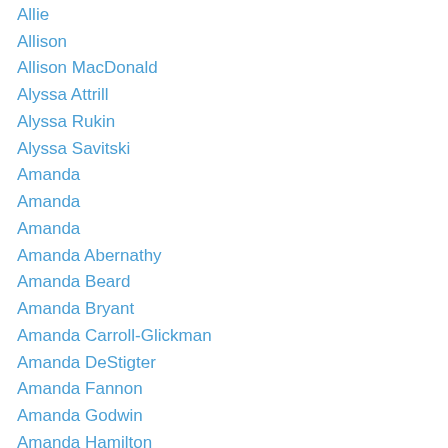Allie
Allison
Allison MacDonald
Alyssa Attrill
Alyssa Rukin
Alyssa Savitski
Amanda
Amanda
Amanda
Amanda Abernathy
Amanda Beard
Amanda Bryant
Amanda Carroll-Glickman
Amanda DeStigter
Amanda Fannon
Amanda Godwin
Amanda Hamilton
Amanda L. Jones
Amanda Ladecki
Amanda Langan